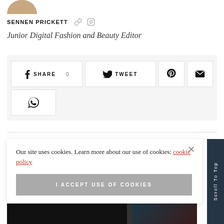[Figure (photo): Partial author profile photo (circular crop, top portion)]
SENNEN PRICKETT
Junior Digital Fashion and Beauty Editor
[Figure (infographic): Social share bar with Facebook Share (0), Twitter Tweet, Pinterest, Email, and WhatsApp buttons on a light grey background]
Our site uses cookies. Learn more about our use of cookies: cookie policy
I ACCEPT USE OF COOKIES
[Figure (photo): Bottom strip showing two dark thumbnail images and a Scroll To Top sidebar element]